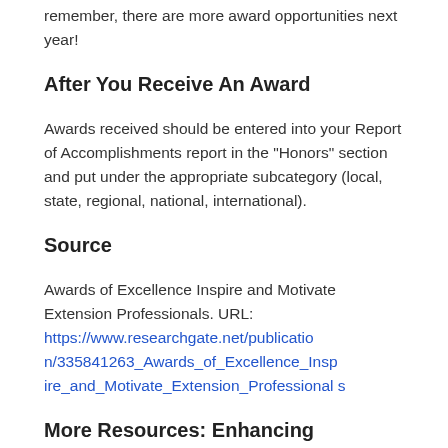remember, there are more award opportunities next year!
After You Receive An Award
Awards received should be entered into your Report of Accomplishments report in the “Honors” section and put under the appropriate subcategory (local, state, regional, national, international).
Source
Awards of Excellence Inspire and Motivate Extension Professionals. URL: https://www.researchgate.net/publication/335841263_Awards_of_Excellence_Inspire_and_Motivate_Extension_Professionals
More Resources: Enhancing